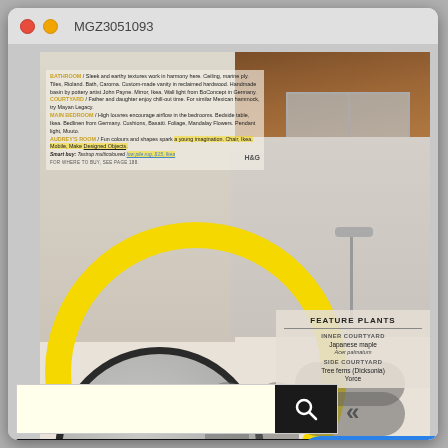MGZ3051093
[Figure (screenshot): Screenshot of a browser/app window showing a magazine editorial page about a house interior. The magazine page shows a bathroom/courtyard/bedroom feature with descriptive text, a large yellow circular arch, a round mirror, shower area, and a Feature Plants panel on the right side. Overlaid on the magazine page are UI elements: a search bar with yellow highlighting and black search button, a back arrow (<<), a dark Categories dropdown bar, and a blue 'leave a message' pill button. At the bottom is 'ANY CATEGORY' text.]
BATHROOM / Sleek and earthy textures work in harmony here. Ceiling, marine ply. Tiles, Rioland. Bath, Caroma. Custom-made vanity in reclaimed hardwood. Handmade basin by pottery artist John Payne. Mirror, Ikea. Wall light from BoConcept in Germany. COURTYARD / Father and daughter enjoy chill-out time. For similar Mexican hammock, try Mayan Legacy. MAIN BEDROOM / High louvres encourage airflow in the bedrooms. Bedside table, Ikea. Bedlinen from Germany. Cushions, Basatti. Foliage, Mandalay Flowers. Pendant light, Muuto. AUDREY'S ROOM / Fun colours and shapes spark a young imagination. Chair, Ikea. Mobile, Make Designed Objects. Smart buy: Tastrup multicoloured low-pile rug, $15, Ikea FOR WHERE TO BUY, SEE PAGE 188.
FEATURE PLANTS
INNER COURTYARD
Japanese maple
Acer palmatum
SIDE COURTYARD
Tree ferns (Dicksonia)
Yorce
Categories
eave a message
ANY CATEGORY